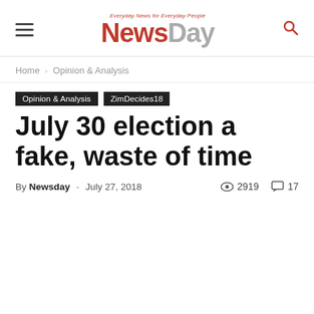NewsDay — Everyday News for Everyday People
Home › Opinion & Analysis
Opinion & Analysis
ZimDecides18
July 30 election a fake, waste of time
By Newsday - July 27, 2018  2919  17